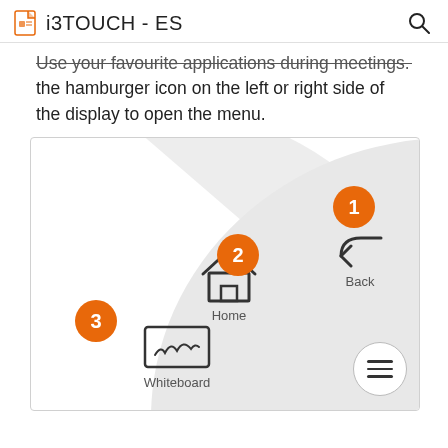i3TOUCH - ES
Use your favourite applications during meetings. Press the hamburger icon on the left or right side of the display to open the menu.
[Figure (screenshot): Screenshot of i3TOUCH menu interface showing numbered callouts (1, 2, 3) on a radial/fan menu with Home, Back, and Whiteboard options, plus a hamburger (three-line) menu button in the bottom right corner.]